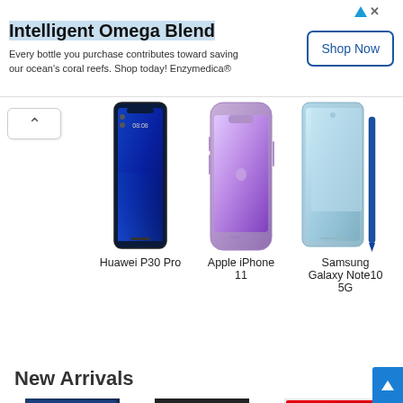[Figure (infographic): Advertisement banner for Intelligent Omega Blend by Enzymedica with Shop Now button]
Intelligent Omega Blend
Every bottle you purchase contributes toward saving our ocean's coral reefs. Shop today! Enzymedica®
[Figure (photo): Huawei P30 Pro smartphone product image]
Huawei P30 Pro
[Figure (photo): Apple iPhone 11 smartphone product image in purple]
Apple iPhone 11
[Figure (photo): Samsung Galaxy Note10 5G smartphone product image]
Samsung Galaxy Note10 5G
New Arrivals
[Figure (photo): PlayStation 4 Pro gaming console product image]
PlayStation 4 Pro
[Figure (photo): Xbox One X gaming console product image]
Xbox One X
$348.00
[Figure (photo): Nintendo Switch gaming console product image]
Switch